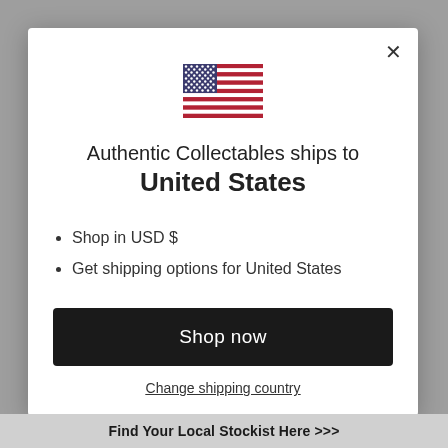[Figure (illustration): US flag emoji/illustration displayed at top center of modal dialog]
Authentic Collectables ships to United States
Shop in USD $
Get shipping options for United States
Shop now
Change shipping country
Find Your Local Stockist Here >>>